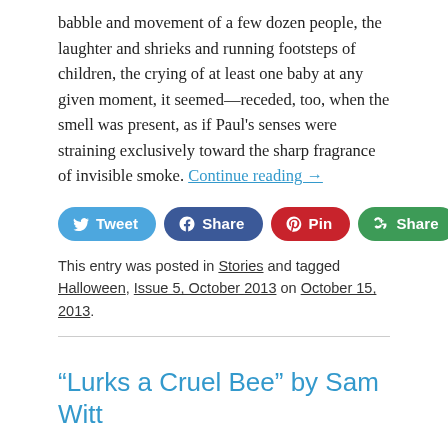babble and movement of a few dozen people, the laughter and shrieks and running footsteps of children, the crying of at least one baby at any given moment, it seemed—receded, too, when the smell was present, as if Paul's senses were straining exclusively toward the sharp fragrance of invisible smoke. Continue reading →
[Figure (infographic): Social sharing buttons: Tweet (Twitter), Share (Facebook), Pin (Pinterest), Share (Google+)]
This entry was posted in Stories and tagged Halloween, Issue 5, October 2013 on October 15, 2013.
“Lurks a Cruel Bee” by Sam Witt
Kevin ran. He tucked his plastic sack of candy tight against his